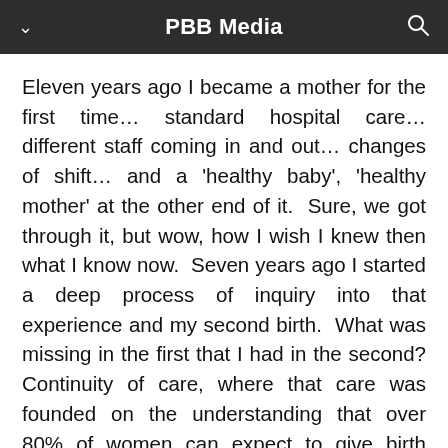PBB Media
Eleven years ago I became a mother for the first time… standard hospital care… different staff coming in and out… changes of shift… and a 'healthy baby', 'healthy mother' at the other end of it.  Sure, we got through it, but wow, how I wish I knew then what I know now.  Seven years ago I started a deep process of inquiry into that experience and my second birth.  What was missing in the first that I had in the second? Continuity of care, where that care was founded on the understanding that over 80% of women can expect to give birth normally, given the right circumstances.